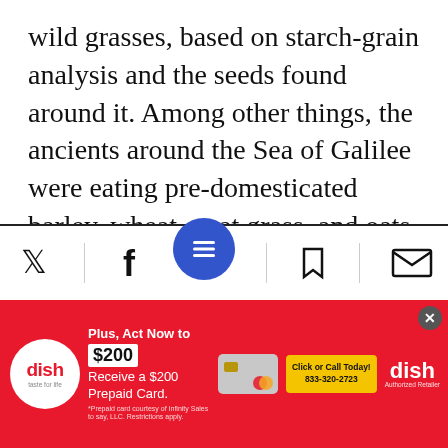wild grasses, based on starch-grain analysis and the seeds found around it. Among other things, the ancients around the Sea of Galilee were eating pre-domesticated barley, wheat, goat grass, and oats, among others.
So did cereal cultivation begin at least 23,000 years ago, not more recently as thought? Was the Galilee aswarm with early -farmers? We cannot know, but we can say that hunter-gatherers living on the shores of the Sea of Galilee occupied their camp on a year-round
[Figure (screenshot): Mobile app toolbar with Twitter, Facebook, hamburger menu (blue circle), bookmark, and email icons, plus a red advertisement banner for Dish Network at the bottom offering a $200 Prepaid Card.]